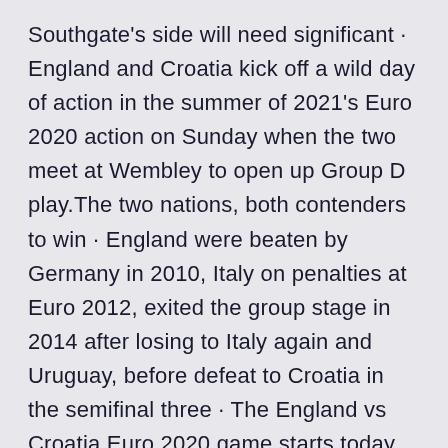Southgate's side will need significant · England and Croatia kick off a wild day of action in the summer of 2021's Euro 2020 action on Sunday when the two meet at Wembley to open up Group D play.The two nations, both contenders to win · England were beaten by Germany in 2010, Italy on penalties at Euro 2012, exited the group stage in 2014 after losing to Italy again and Uruguay, before defeat to Croatia in the semifinal three · The England vs Croatia Euro 2020 game starts today (Sunday, June 13) at 2 p.m.
Italy and Turkey get the party started tonight, before the countdown begins to England's opener against Croatia on Sunday. Meanwhile Denmark and Romania are set to announce an increase in the number of fans that can attend their Euro 2020 games - to 65 and 50 per cent respectively. · The first game in Group D of